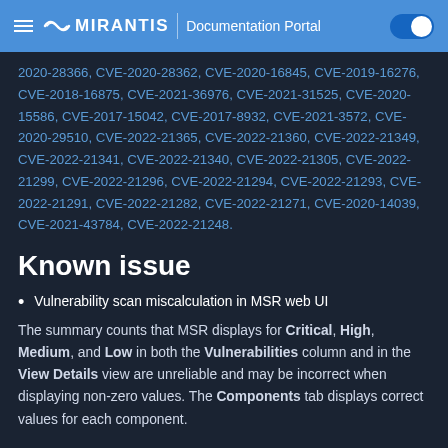MIRANTIS Documentation Portal
2020-28366, CVE-2020-28362, CVE-2020-16845, CVE-2019-16276, CVE-2018-16875, CVE-2021-36976, CVE-2021-31525, CVE-2020-15586, CVE-2017-15042, CVE-2017-8932, CVE-2021-3572, CVE-2020-29510, CVE-2022-21365, CVE-2022-21360, CVE-2022-21349, CVE-2022-21341, CVE-2022-21340, CVE-2022-21305, CVE-2022-21299, CVE-2022-21296, CVE-2022-21294, CVE-2022-21293, CVE-2022-21291, CVE-2022-21282, CVE-2022-21271, CVE-2020-14039, CVE-2021-43784, CVE-2022-21248.
Known issue
Vulnerability scan miscalculation in MSR web UI
The summary counts that MSR displays for Critical, High, Medium, and Low in both the Vulnerabilities column and in the View Details view are unreliable and may be incorrect when displaying non-zero values. The Components tab displays correct values for each component.